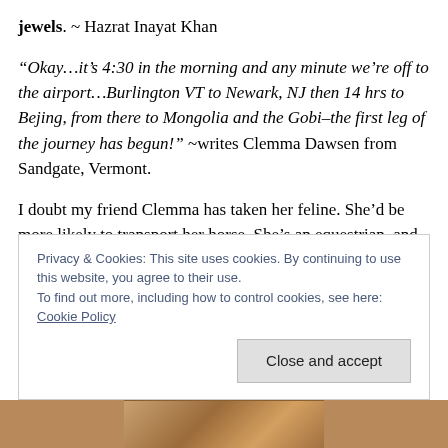jewels. ~ Hazrat Inayat Khan
“Okay…it’s 4:30 in the morning and any minute we’re off to the airport…Burlington VT to Newark, NJ then 14 hrs to Bejing, from there to Mongolia and the Gobi–the first leg of the journey has begun!” ~writes Clemma Dawsen from Sandgate, Vermont.
I doubt my friend Clemma has taken her feline. She’d be more likely to transport her horse. She’s an equestrian, and finds the same kind of fulfillment in owning an equine
Privacy & Cookies: This site uses cookies. By continuing to use this website, you agree to their use.
To find out more, including how to control cookies, see here: Cookie Policy
Close and accept
[Figure (photo): Partial view of a photograph showing people, visible at the bottom of the page]